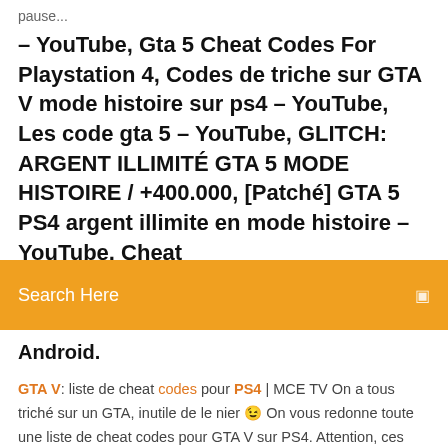pause...
– YouTube, Gta 5 Cheat Codes For Playstation 4, Codes de triche sur GTA V mode histoire sur ps4 – YouTube, Les code gta 5 – YouTube, GLITCH: ARGENT ILLIMITÉ GTA 5 MODE HISTOIRE / +400.000, [Patché] GTA 5 PS4 argent illimite en mode histoire – YouTube, Cheat
Search Here
Android.
GTA V: liste de cheat codes pour PS4 | MCE TV On a tous triché sur un GTA, inutile de le nier 😉 On vous redonne toute une liste de cheat codes pour GTA V sur PS4. Attention, ces codes désactivent l'obtention des succès/trophées. Comment avoir de l'argent à l'infini dans Grand Theft Auto V Il n'existe pas de codes de triche pour l'argent dans GTA V, mais avec la bonne stratégie, vous pouvez gagner beaucoup d'argent. Il existe également des exploits donnant de l'argent à l'infini, cependant, vous aurez besoin de jouer à la version non patchée pour